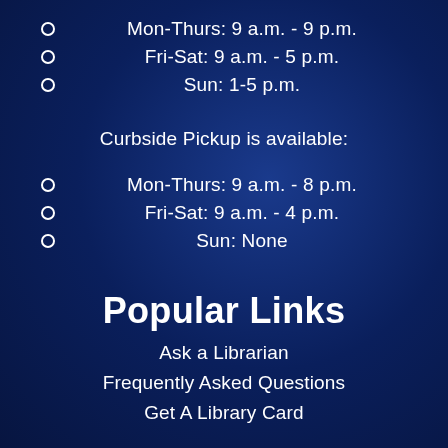Mon-Thurs: 9 a.m. - 9 p.m.
Fri-Sat: 9 a.m. - 5 p.m.
Sun: 1-5 p.m.
Curbside Pickup is available:
Mon-Thurs: 9 a.m. - 8 p.m.
Fri-Sat: 9 a.m. - 4 p.m.
Sun: None
Popular Links
Ask a Librarian
Frequently Asked Questions
Get A Library Card